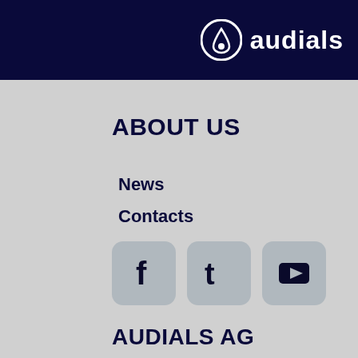[Figure (logo): Audials logo: white circle with stylized A icon on dark navy background, with 'audials' text in white]
ABOUT US
News
Contacts
[Figure (infographic): Three social media icon buttons: Facebook (f), Twitter (t), YouTube (play button), each in a rounded square with grey background]
AUDIALS AG
About us
Partners & Affiliates
Audials API